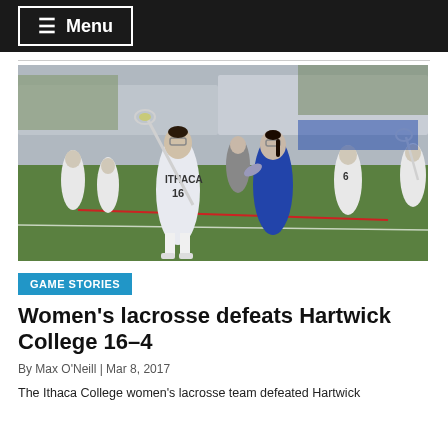≡ Menu
[Figure (photo): Women's lacrosse game action: Ithaca College player #16 in white uniform with lacrosse stick, defended by a player in blue uniform, other players and a referee visible in the background on a green field.]
GAME STORIES
Women's lacrosse defeats Hartwick College 16–4
By Max O'Neill | Mar 8, 2017
The Ithaca College women's lacrosse team defeated Hartwick...